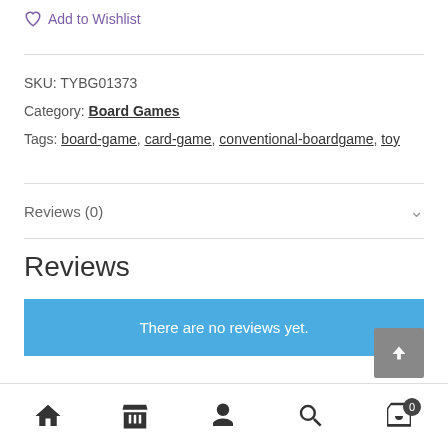Add to Wishlist
SKU: TYBG01373
Category: Board Games
Tags: board-game, card-game, conventional-boardgame, toy
Reviews (0)
Reviews
There are no reviews yet.